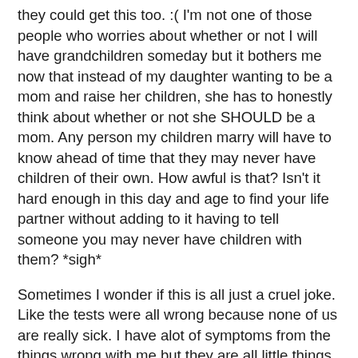they could get this too. :( I'm not one of those people who worries about whether or not I will have grandchildren someday but it bothers me now that instead of my daughter wanting to be a mom and raise her children, she has to honestly think about whether or not she SHOULD be a mom. Any person my children marry will have to know ahead of time that they may never have children of their own. How awful is that? Isn't it hard enough in this day and age to find your life partner without adding to it having to tell someone you may never have children with them? *sigh*
Sometimes I wonder if this is all just a cruel joke. Like the tests were all wrong because none of us are really sick. I have alot of symptoms from the things wrong with me but they are all little things so although they are aggrivating they don't control my life. The kids are still the healthiest kids I've ever known.
And by the way, knocking on wood everytime you say that does NOT help. I spent 13 years knocking on wood everytime I said how happy I was my kids were healthy and at times almost too healthy. Now look where it got us. :( I'm